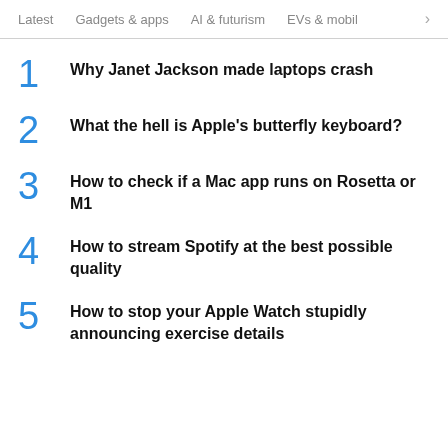Latest   Gadgets & apps   AI & futurism   EVs & mobil  >
1 Why Janet Jackson made laptops crash
2 What the hell is Apple's butterfly keyboard?
3 How to check if a Mac app runs on Rosetta or M1
4 How to stream Spotify at the best possible quality
5 How to stop your Apple Watch stupidly announcing exercise details